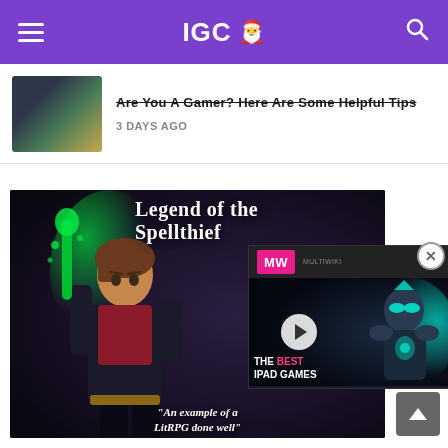IGC 🎅
Are You A Gamer? Here Are Some Helpful Tips
3 DAYS AGO
[Figure (screenshot): Legend of the Spellthief game artwork showing an anime-style character holding a glowing green sword, with the text 'LEGEND OF THE SPELLTHIEF' at the top and '"An example of a LITRPG done well"' at the bottom]
[Figure (screenshot): Video player popup overlay showing MW (Multiwiki) logo on pink background, a play button, and text 'THE BEST IPAD GAMES' with a fantasy game character on the right side]